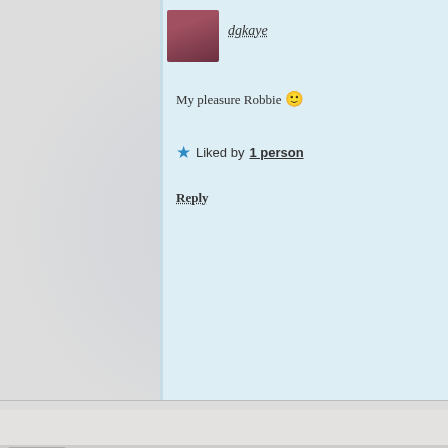dgkaye
My pleasure Robbie 🙂
Liked by 1 person
Reply
Liz Gauffreau
Fooled you, eh, Cupid? I particularly enjoyed the personalities of the chara…
Liked by 2 people
Reply
robbiesinspiration
Thank you, Liz. I am glad you enjoyed this. Something light and f…